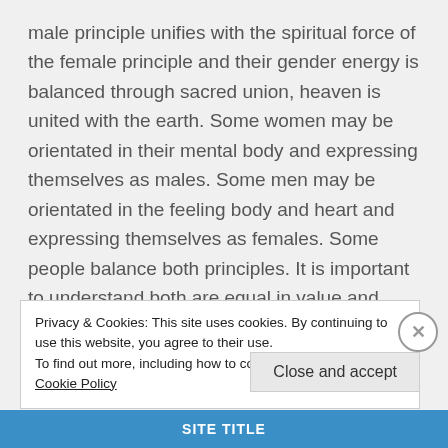male principle unifies with the spiritual force of the female principle and their gender energy is balanced through sacred union, heaven is united with the earth. Some women may be orientated in their mental body and expressing themselves as males. Some men may be orientated in the feeling body and heart and expressing themselves as females. Some people balance both principles. It is important to understand both are equal in value and both are required to be in balance in order to
Privacy & Cookies: This site uses cookies. By continuing to use this website, you agree to their use.
To find out more, including how to control cookies, see here: Cookie Policy
Close and accept